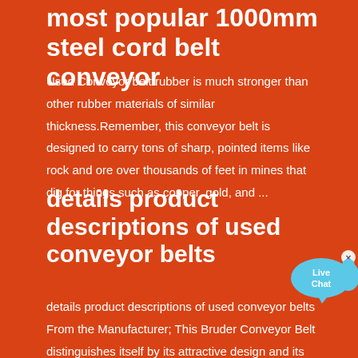most popular 1000mm steel cord belt conveyor
Used Conveyor belt rubber is much stronger than other rubber materials of similar thickness.Remember, this conveyor belt is designed to carry tons of sharp, pointed items like rock and ore over thousands of feet in mines that dig for things such as copper, gold, and ...
[Figure (other): Live Chat speech bubble widget with blue bubble and white text 'Live Chat']
details product descriptions of used conveyor belts
details product descriptions of used conveyor belts From the Manufacturer; This Bruder Conveyor Belt distinguishes itself by its attractive design and its lifting